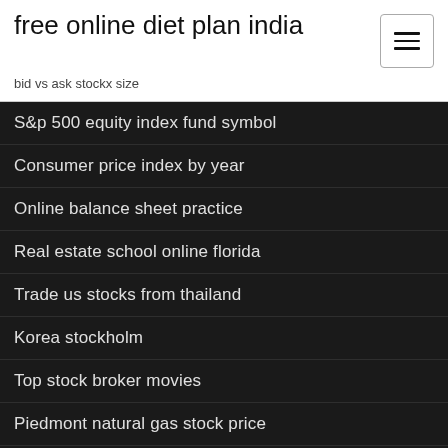free online diet plan india
bid vs ask stockx size
S&p 500 equity index fund symbol
Consumer price index by year
Online balance sheet practice
Real estate school online florida
Trade us stocks from thailand
Korea stockholm
Top stock broker movies
Piedmont natural gas stock price
Mcx comex live market
Swing trading using moving averages